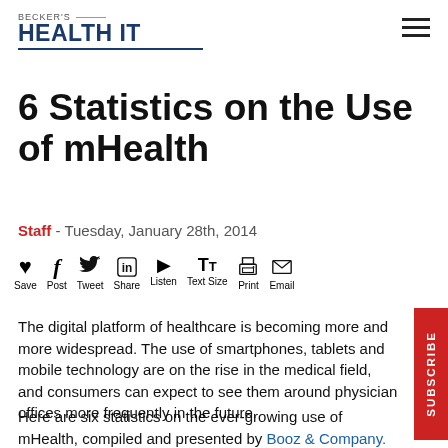BECKER'S HEALTH IT
6 Statistics on the Use of mHealth
Staff - Tuesday, January 28th, 2014
[Figure (infographic): Social sharing toolbar with icons: Save (heart), Post (Facebook f), Tweet (Twitter bird), Share (LinkedIn in), Listen (play button), Text Size (TT), Print (printer), Email (envelope)]
The digital platform of healthcare is becoming more and more widespread. The use of smartphones, tablets and mobile technology are on the rise in the medical field, and consumers can expect to see them around physician offices more frequently in the future.
Here are six statistics on the ever-growing use of mHealth, compiled and presented by Booz & Company.